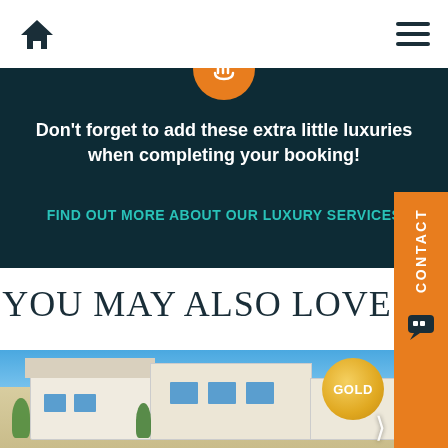Home icon | Menu icon
[Figure (infographic): Orange circle with hand/luxury icon on dark teal banner background]
Don't forget to add these extra little luxuries when completing your booking!
FIND OUT MORE ABOUT OUR LUXURY SERVICES
YOU MAY ALSO LOVE
[Figure (photo): White Mediterranean-style luxury villa with blue sky, balconies, and lush green garden. A gold badge labeled GOLD appears in the upper right of the image. A right-arrow navigation chevron appears at bottom right.]
CONTACT